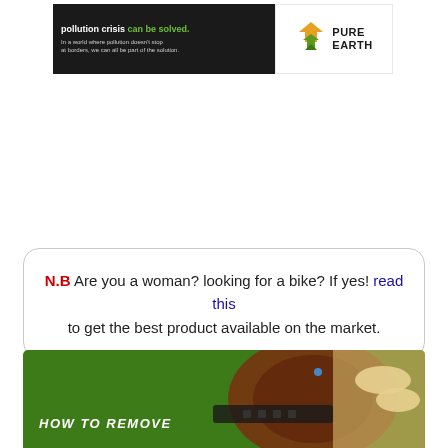[Figure (logo): Pure Earth banner ad with dark background on left showing 'pollution crisis can be solved.' headline and tagline, and Pure Earth logo on white background on right]
N.B Are you a woman? looking for a bike? If yes! read this to get the best product available on the market.
[Figure (photo): Green banner image with bicycle chain/mechanics photo and 'HOW TO REMOVE' text overlay at bottom left]